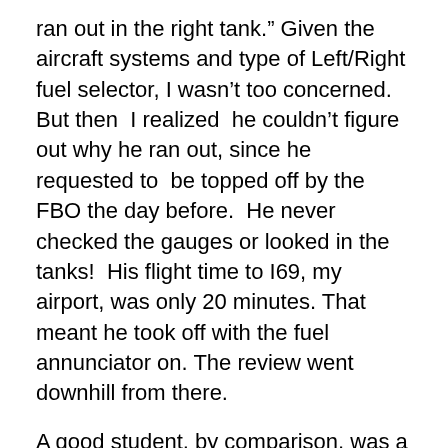ran out in the right tank.” Given the aircraft systems and type of Left/Right fuel selector, I wasn’t too concerned. But then I realized he couldn’t figure out why he ran out, since he requested to be topped off by the FBO the day before. He never checked the gauges or looked in the tanks! His flight time to I69, my airport, was only 20 minutes. That meant he took off with the fuel annunciator on. The review went downhill from there.
A good student, by comparison, was a gentleman who was referred to me by a fellow instructor who left instructing. This student had been a pilot for about 12...